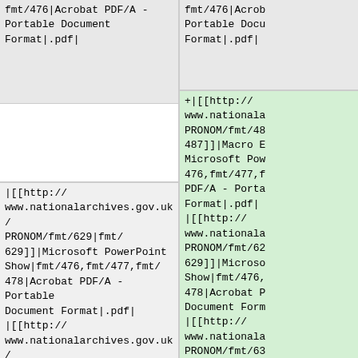| fmt/476|Acrobat PDF/A - Portable Document Format|.pdf| | fmt/476|Acrob Portable Docu Format|.pdf|
+|[[http://www.nationala PRONOM/fmt/48 487]]|Macro E Microsoft Pow 476,fmt/477,f PDF/A - Porta Format|.pdf| |
| |[[http://www.nationalarchives.gov.uk/PRONOM/fmt/629|fmt/629]]|Microsoft PowerPoint Show|fmt/476,fmt/477,fmt/478|Acrobat PDF/A - Portable Document Format|.pdf|
|[[http://www.nationalarchives.gov.uk/PRONOM/fmt/630|fmt/ | |[[http://www.nationala PRONOM/fmt/62 629]]|Microso Show|fmt/476, 478|Acrobat P Document Form
|[[http://
www.nationala PRONOM/fmt/63 |